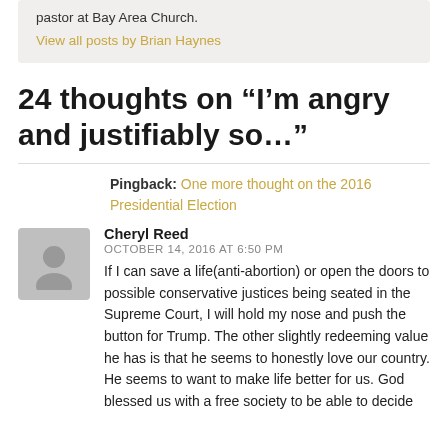pastor at Bay Area Church.
View all posts by Brian Haynes
24 thoughts on “I’m angry and justifiably so…”
Pingback: One more thought on the 2016 Presidential Election
Cheryl Reed
OCTOBER 14, 2016 AT 6:50 PM
If I can save a life(anti-abortion) or open the doors to possible conservative justices being seated in the Supreme Court, I will hold my nose and push the button for Trump. The other slightly redeeming value he has is that he seems to honestly love our country. He seems to want to make life better for us. God blessed us with a free society to be able to decide